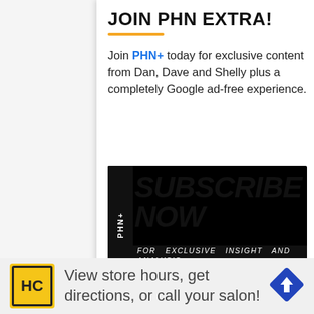JOIN PHN EXTRA!
Join PHN+ today for exclusive content from Dan, Dave and Shelly plus a completely Google ad-free experience.
[Figure (illustration): PHN+ Subscribe Now banner — black background with bold italic white text reading SUBSCRIBE NOW and subtitle FOR EXCLUSIVE INSIGHT AND ANALYSIS FROM DAN KINGERSKI & SHELLY ANDERSON]
Or enter your email below to sign-up for our mailing list.
Enter your email here
SIGN UP NOW
Thre
Peng
sepa
[Figure (illustration): Advertisement banner: HC logo (yellow background) with text 'View store hours, get directions, or call your salon!' and a blue navigation arrow icon]